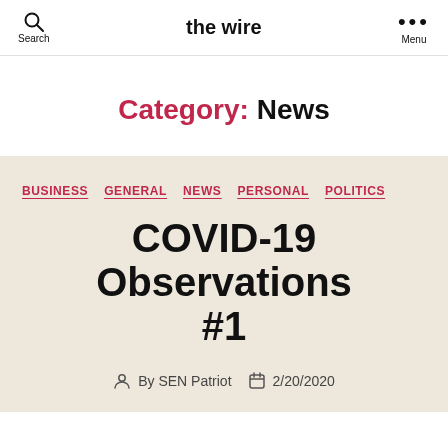the wire
Category: News
BUSINESS GENERAL NEWS PERSONAL POLITICS
COVID-19 Observations #1
By SEN Patriot  2/20/2020